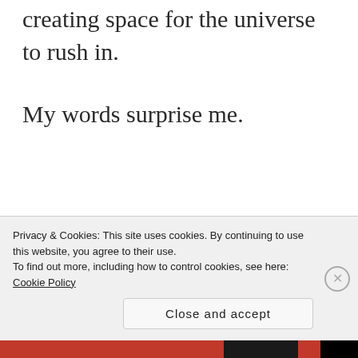creating space for the universe to rush in.
My words surprise me.
Advertisements
[Figure (other): Automattic advertisement: AUTOMATTIC logo with tagline 'Build a better web and a better world.']
I will always be Lee's ex-wife. Just as I
Privacy & Cookies: This site uses cookies. By continuing to use this website, you agree to their use.
To find out more, including how to control cookies, see here: Cookie Policy
Close and accept